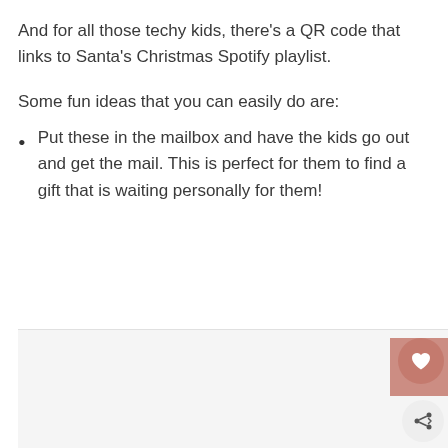And for all those techy kids, there's a QR code that links to Santa's Christmas Spotify playlist.
Some fun ideas that you can easily do are:
Put these in the mailbox and have the kids go out and get the mail. This is perfect for them to find a gift that is waiting personally for them!
[Figure (photo): Partial image placeholder at bottom of page, with a pink/rose colored square overlay in the bottom-right corner and a circular heart button and share button overlaid.]